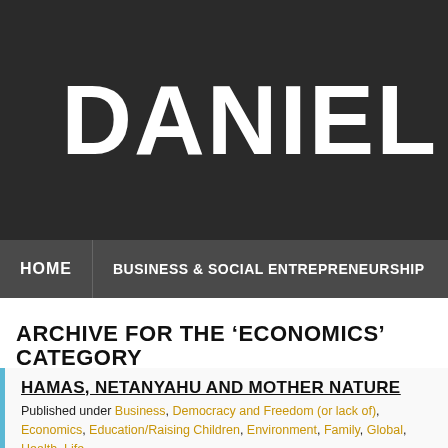DANIEL
HOME | BUSINESS & SOCIAL ENTREPRENEURSHIP
ARCHIVE FOR THE ‘ECONOMICS’ CATEGORY
HAMAS, NETANYAHU AND MOTHER NATURE
Published under Business, Democracy and Freedom (or lack of), Economics, Education/Raising Children, Environment, Family, Global, Health, Life, Palestine, Religion
Here’s a story from The New York Times that I thought you’d fi... Israel could have made peace before. Now, demographic a... urgency.